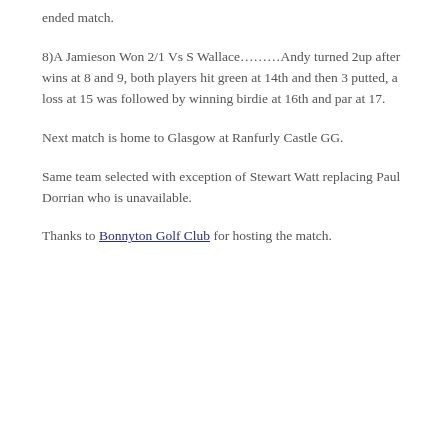ended match.
8)A Jamieson Won 2/1 Vs S Wallace………Andy turned 2up after wins at 8 and 9, both players hit green at 14th and then 3 putted, a loss at 15 was followed by winning birdie at 16th and par at 17.
Next match is home to Glasgow at Ranfurly Castle GG.
Same team selected with exception of Stewart Watt replacing Paul Dorrian who is unavailable.
Thanks to Bonnyton Golf Club for hosting the match.